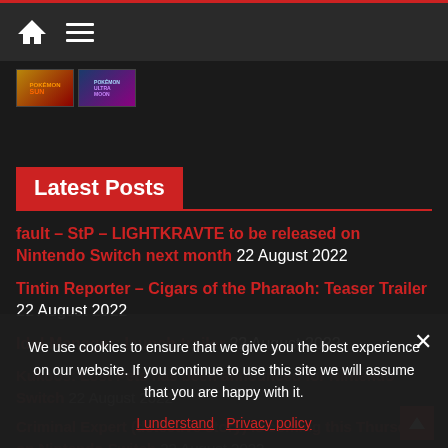Home | Menu
[Figure (screenshot): Two game thumbnail images: Pokémon Sun and Pokémon Ultra Moon]
Latest Posts
fault – StP – LIGHTKRAVTE to be released on Nintendo Switch next month 22 August 2022
Tintin Reporter – Cigars of the Pharaoh: Teaser Trailer 22 August 2022
Idol Manager: launch trailer 22 August 2022
Kukoos: Lost Pets has been announced for Nintendo Switch 22 August 2022
Criminal Expert (detective story) is coming this Thursday on Nintendo Switch 22 August 2022
We use cookies to ensure that we give you the best experience on our website. If you continue to use this site we will assume that you are happy with it.
I understand | Privacy policy